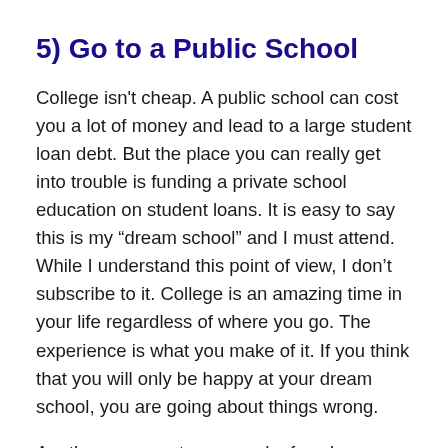5) Go to a Public School
College isn't cheap. A public school can cost you a lot of money and lead to a large student loan debt. But the place you can really get into trouble is funding a private school education on student loans. It is easy to say this is my “dream school” and I must attend. While I understand this point of view, I don’t subscribe to it. College is an amazing time in your life regardless of where you go. The experience is what you make of it. If you think that you will only be happy at your dream school, you are going about things wrong.
Another argument some make for why you